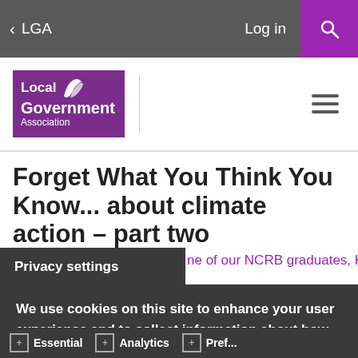< LGA  Log in  [Search]
[Figure (logo): Local Government Association logo with purple badge]
Forget What You Think You Know... about climate action – part two
Privacy settings
ne of our NCRB graduates, Katie
We use cookies on this site to enhance your user experience and to collect information about how you use our website. We use this information to make the website work as well as possible and to improve our content. More information
Essential  Analytics  Preferences